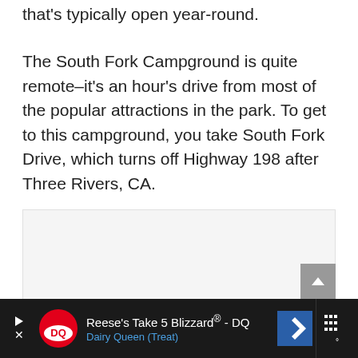that's typically open year-round.
The South Fork Campground is quite remote–it's an hour's drive from most of the popular attractions in the park. To get to this campground, you take South Fork Drive, which turns off Highway 198 after Three Rivers, CA.
[Figure (other): Light gray placeholder box for an image]
Reese's Take 5 Blizzard® - DQ
Dairy Queen (Treat)